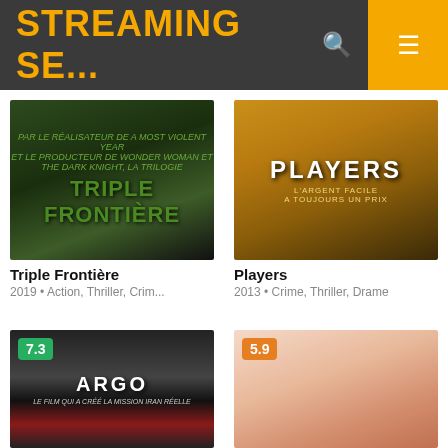STREAMING SE...
[Figure (photo): Movie poster for Triple Frontière showing dark jungle imagery with green text]
Triple Frontière
2019 • Action, Thriller, Crim...
[Figure (photo): Movie poster for Players showing two men in golden light with white PLAYERS title text]
Players
2013 • Crime, Thriller, Drame
[Figure (photo): Movie poster for Argo showing black and white close-up face with red film strip and ARGO text, rating badge 7.3]
[Figure (photo): Movie poster for unknown film showing close-up of woman's face, rating badge 5.9]